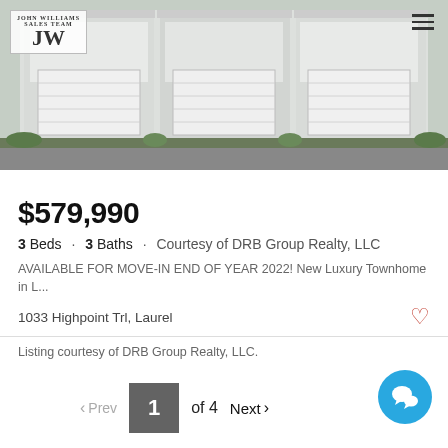[Figure (photo): Hero image of luxury townhomes facade with garage doors, green landscaping, and JW John Williams Sales Team logo in top-left corner with hamburger menu icon top-right]
$579,990
3 Beds · 3 Baths · Courtesy of DRB Group Realty, LLC
AVAILABLE FOR MOVE-IN END OF YEAR 2022! New Luxury Townhome in L...
1033 Highpoint Trl, Laurel
Listing courtesy of DRB Group Realty, LLC.
< Prev  1  of 4  Next >